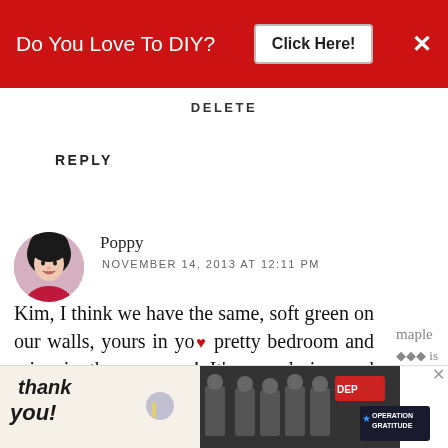[Figure (screenshot): Red banner advertisement: 'Do You Love To DIY? Click Here!' with X close button]
DELETE
REPLY
[Figure (photo): Avatar photo of commenter Poppy — woman with dark hair]
Poppy
NOVEMBER 14, 2013 AT 12:11 PM
Kim, I think we have the same, soft green on our walls, yours in your pretty bedroom and mine in the sun room! It's so calming and cozy, is it? I love what you did with the accent table to hide the ugly (you are not alone, my OCD maple ... zombie ... is
[Figure (screenshot): Bottom advertisement banner: 'Thank you!' with Operation Gratitude imagery showing firefighters]